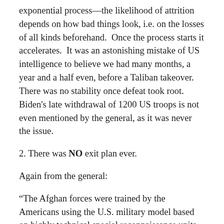exponential process—the likelihood of attrition depends on how bad things look, i.e. on the losses of all kinds beforehand.  Once the process starts it accelerates.  It was an astonishing mistake of US intelligence to believe we had many months, a year and a half even, before a Taliban takeover.  There was no stability once defeat took root. Biden's late withdrawal of 1200 US troops is not even mentioned by the general, as it was never the issue.
2. There was NO exit plan ever.
Again from the general:
“The Afghan forces were trained by the Americans using the U.S. military model based on highly technical special reconnaissance units, helicopters and airstrikes. We lost